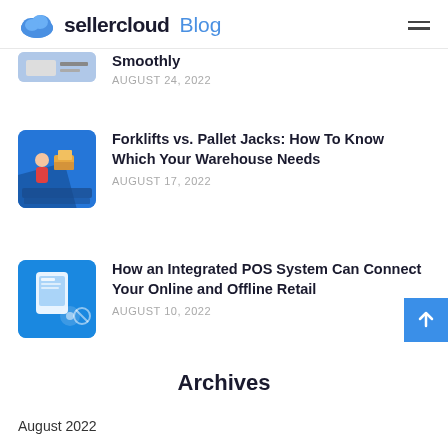sellercloud Blog
[Figure (screenshot): Partial blog post thumbnail, cut off at top]
Smoothly
AUGUST 24, 2022
[Figure (illustration): Blog post thumbnail: Forklifts vs Pallet Jacks illustration with warehouse character]
Forklifts vs. Pallet Jacks: How To Know Which Your Warehouse Needs
AUGUST 17, 2022
[Figure (illustration): Blog post thumbnail: Integrated POS System illustration with tablet and retail icons]
How an Integrated POS System Can Connect Your Online and Offline Retail
AUGUST 10, 2022
Archives
August 2022